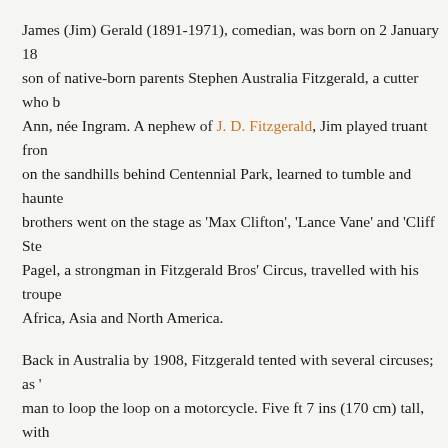James (Jim) Gerald (1891-1971), comedian, was born on 2 January 18 son of native-born parents Stephen Australia Fitzgerald, a cutter who b Ann, née Ingram. A nephew of J. D. Fitzgerald, Jim played truant fron on the sandhills behind Centennial Park, learned to tumble and haunte brothers went on the stage as 'Max Clifton', 'Lance Vane' and 'Cliff Ste Pagel, a strongman in Fitzgerald Bros' Circus, travelled with his troup Africa, Asia and North America.
Back in Australia by 1908, Fitzgerald tented with several circuses; as ' man to loop the loop on a motorcycle. Five ft 7 ins (170 cm) tall, with the Fullers' vaudeville circuit in 1912 as 'Jim Gerald', an acrobat and w Peter's Anglican Church, Wellington, New Zealand, he married Esther actress known as 'Essie Jennings'. A knockabout act with his wife, 'Th made his name as a comedian.
Fitzgerald enlisted in the Australian Imperial Force on 5 May 1916 an with the 1st Australian and New Zealand Wireless Signal Squadron. D returned to the Fullers' circuit and was soon asked by (Sir) Benjamin r revue sketches. He had seen the funny side of soldiering in Mesopotar remained popular for years. Unlike his contemporaries Roy Rene and 'unashamedly international' in his work. Almost every Christmas he pl